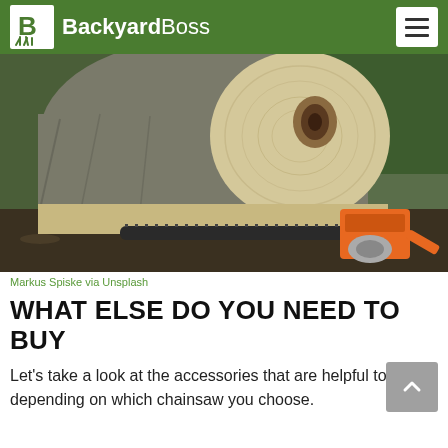BackyardBoss
[Figure (photo): A large felled tree trunk with exposed cross-section, lying on the forest floor. A chainsaw with an orange body is placed in front of the log on the cut surface.]
Markus Spiske via Unsplash
WHAT ELSE DO YOU NEED TO BUY
Let's take a look at the accessories that are helpful to have, depending on which chainsaw you choose.